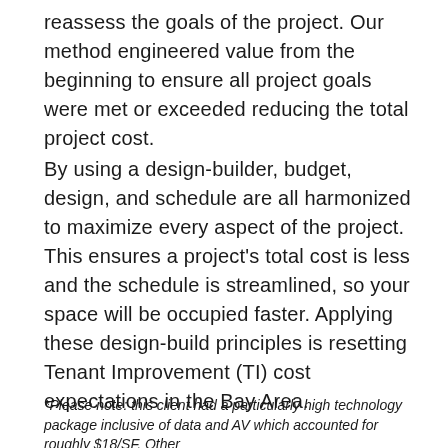reassess the goals of the project. Our method engineered value from the beginning to ensure all project goals were met or exceeded reducing the total project cost.
By using a design-builder, budget, design, and schedule are all harmonized to maximize every aspect of the project. This ensures a project's total cost is less and the schedule is streamlined, so your space will be occupied faster. Applying these design-build principles is resetting Tenant Improvement (TI) cost expectations in the Bay Area.
*Please note: this client had a particularly high technology package inclusive of data and AV which accounted for roughly $18/SF. Other